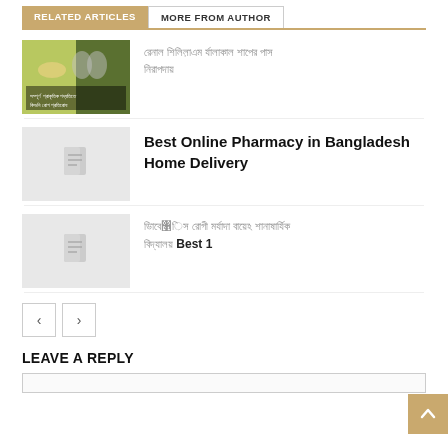RELATED ARTICLES | MORE FROM AUTHOR
[Figure (photo): Thumbnail photo showing vegetables, a kidney illustration, and Bengali text overlay about kidney disease]
Bengali text (article title in Bengali script)
[Figure (photo): Placeholder thumbnail with document icon]
Best Online Pharmacy in Bangladesh Home Delivery
[Figure (photo): Placeholder thumbnail with document icon]
Bengali text followed by Best 1
Pagination: < >
LEAVE A REPLY